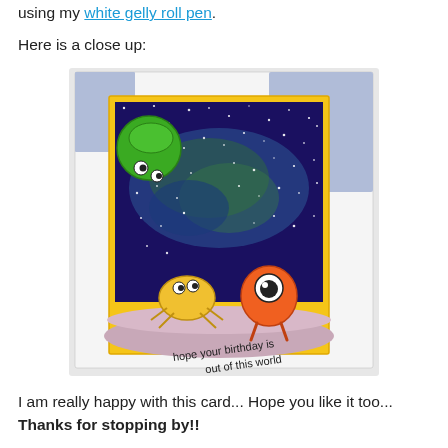using my white gelly roll pen.
Here is a close up:
[Figure (photo): Close-up photo of a handmade birthday card featuring colorful cartoon alien monsters on a galaxy/space background with white dot stars. A green alien floats at top left, a yellow crab-like alien and orange round one-eyed monster stand on a purple moon surface at the bottom. Text at bottom reads 'hope your birthday is out of this world'. Card has yellow border, displayed on white and blue patterned background.]
I am really happy with this card... Hope you like it too... Thanks for stopping by!!